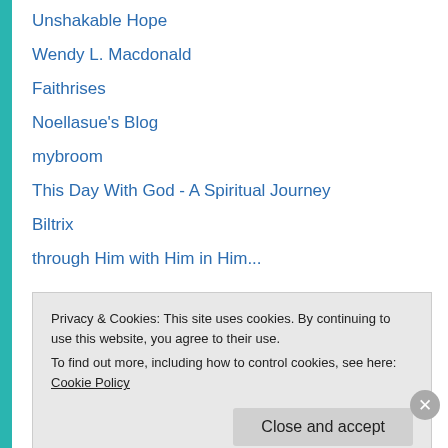Unshakable Hope
Wendy L. Macdonald
Faithrises
Noellasue's Blog
mybroom
This Day With God - A Spiritual Journey
Biltrix
through Him with Him in Him...
Advertisements
[Figure (illustration): Colorful advertisement banner with gradient from pink/red to purple, featuring party hat and doodle illustrations]
Privacy & Cookies: This site uses cookies. By continuing to use this website, you agree to their use.
To find out more, including how to control cookies, see here: Cookie Policy
Close and accept